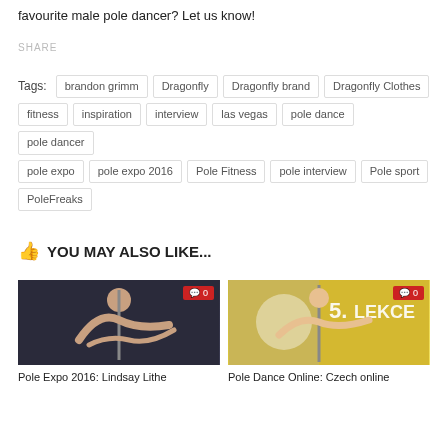favourite male pole dancer? Let us know!
SHARE
Tags: brandon grimm  Dragonfly  Dragonfly brand  Dragonfly Clothes  fitness  inspiration  interview  las vegas  pole dance  pole dancer  pole expo  pole expo 2016  Pole Fitness  pole interview  Pole sport  PoleFreaks
YOU MAY ALSO LIKE...
[Figure (photo): Pole dancer performing on a pole in a dark studio, comment badge showing 0]
Pole Expo 2016: Lindsay Lithe
[Figure (photo): Pole dancer performing at event with yellow background and text 5. LEKCE, comment badge showing 0]
Pole Dance Online: Czech online